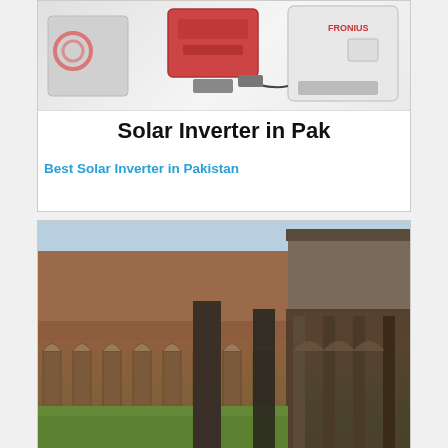[Figure (photo): Solar inverter products photo with white/grey background, showing multiple inverter units. Bottom strip reads 'Solar Inverter in Pak']
Best Solar Inverter in Pakistan
[Figure (photo): Photograph of a historic cloister building with arched columns, brick facade, and green courtyard lawn]